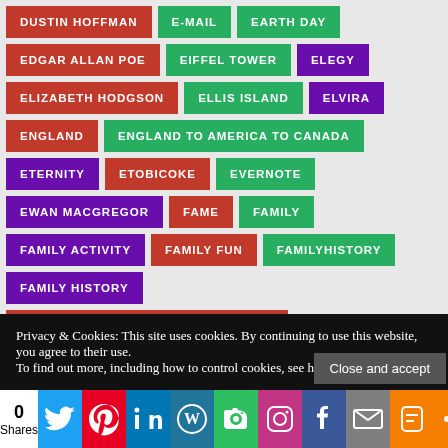DUSTIN HOFFMAN
E-MAIL
EARTH DAY
EDGAR ALLAN POE
EIFFEL TOWER
ELEGY
ELIZABETH HODGSON
ELLIS ISLAND
ELVIRA
ENGLAND
ENGLAND TO AMERICA TO CANADA
ETERNITY
ETOBICOKE
EVERNOTE
EWAN MACGREGOR
FAME
FAMILY
FAMILY ACTIVITY
FAMILY FUN
FAMILYHISTORY
FAMILY HISTORY
FAMILY HISTORY WRITING CHALLENGE
Privacy & Cookies: This site uses cookies. By continuing to use this website, you agree to their use. To find out more, including how to control cookies, see here: Cookie Policy
Close and accept
0 Shares